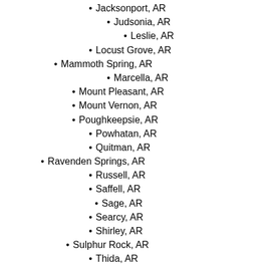Jacksonport, AR
Judsonia, AR
Leslie, AR
Locust Grove, AR
Mammoth Spring, AR
Marcella, AR
Mount Pleasant, AR
Mount Vernon, AR
Poughkeepsie, AR
Powhatan, AR
Quitman, AR
Ravenden Springs, AR
Russell, AR
Saffell, AR
Sage, AR
Searcy, AR
Shirley, AR
Sulphur Rock, AR
Thida, AR
Tuckerman, AR
Tumbling Shoals, AR